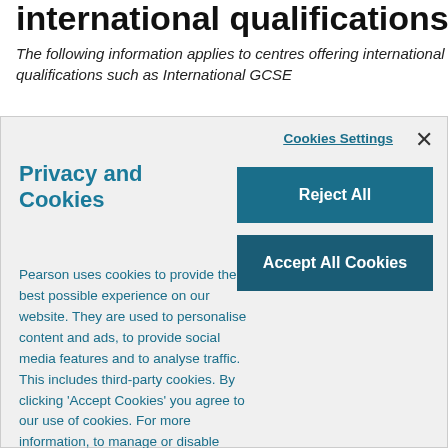international qualifications
The following information applies to centres offering international qualifications such as International GCSE
[Figure (screenshot): Cookie consent modal dialog with 'Privacy and Cookies' heading, 'Cookies Settings' link, close X button, 'Reject All' button, 'Accept All Cookies' button, and body text about Pearson's cookie usage including a 'Learn more' link.]